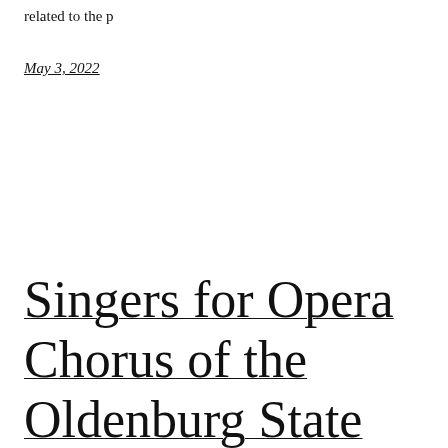related to the p
May 3, 2022
Singers for Opera Chorus of the Oldenburg State Th...